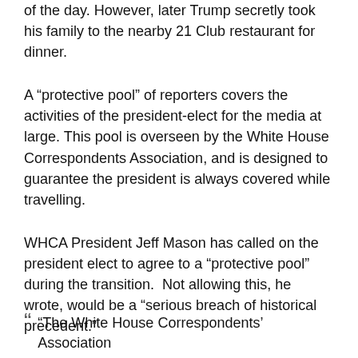of the day.  However, later Trump secretly took his family to the nearby 21 Club restaurant for dinner.
A “protective pool” of reporters covers the activities of the president-elect for the media at large.  This pool is overseen by the White House Correspondents Association, and is designed to guarantee the president is always covered while travelling.
WHCA President Jeff Mason has called on the president elect to agree to a “protective pool” during the transition.  Not allowing this, he wrote, would be a “serious breach of historical precedent.”
In a released statement, Mason criticized the transition’s lack of allowing a pool of journalists to travel with the president-elect.
“The White House Correspondents’ Association